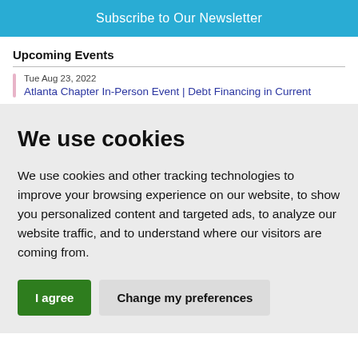Subscribe to Our Newsletter
Upcoming Events
Tue Aug 23, 2022
Atlanta Chapter In-Person Event | Debt Financing in Current
We use cookies
We use cookies and other tracking technologies to improve your browsing experience on our website, to show you personalized content and targeted ads, to analyze our website traffic, and to understand where our visitors are coming from.
I agree
Change my preferences